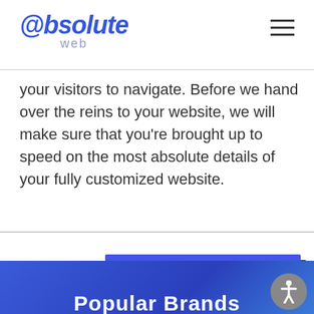@bsolute web
your visitors to navigate. Before we hand over the reins to your website, we will make sure that you’re brought up to speed on the most absolute details of your fully customized website.
Let's talk
Popular Brands